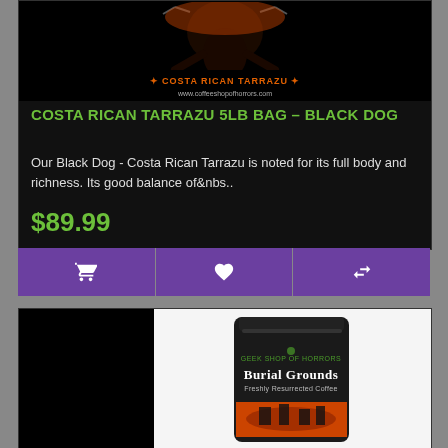[Figure (photo): Product image area for Black Dog Costa Rican Tarrazu coffee - dark themed logo with creature and chains, orange text 'COSTA RICAN TARRAZU', website URL below]
COSTA RICAN TARRAZU 5LB BAG - BLACK DOG
Our Black Dog - Costa Rican Tarrazu is noted for its full body and richness. Its good balance of&nbs..
$89.99
[Figure (photo): Product image of Burial Grounds coffee bag - black mylar bag with orange Halloween imagery, green text 'Geek Shop of Horrors Burial Grounds Freshly Resurrected Coffee']